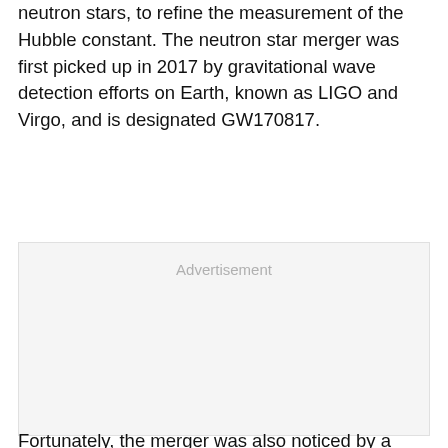neutron stars, to refine the measurement of the Hubble constant. The neutron star merger was first picked up in 2017 by gravitational wave detection efforts on Earth, known as LIGO and Virgo, and is designated GW170817.
[Figure (other): Advertisement placeholder box with light gray background and 'Advertisement' label text centered near the top.]
Fortunately, the merger was also noticed by a